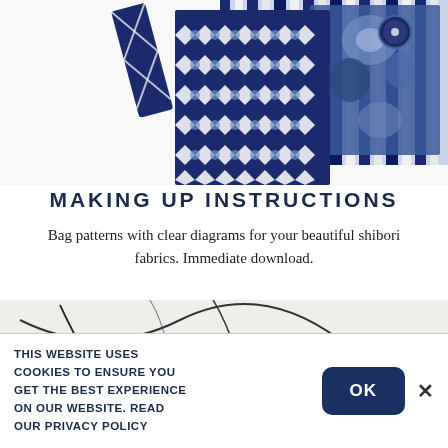[Figure (photo): Collection of blue and white shibori/indigo patterned fabric swatches arranged overlapping: geometric diamond pattern fabric, vertical stripe indigo fabric, tie-dye blue fabric, and striped blue-white fabric pieces]
MAKING UP INSTRUCTIONS
Bag patterns with clear diagrams for your beautiful shibori fabrics. Immediate download.
[Figure (photo): Close-up photo of white fabric with dark curved/straight lines drawn on it, appearing to be pattern marking or shibori preparation]
THIS WEBSITE USES COOKIES TO ENSURE YOU GET THE BEST EXPERIENCE ON OUR WEBSITE. READ OUR PRIVACY POLICY